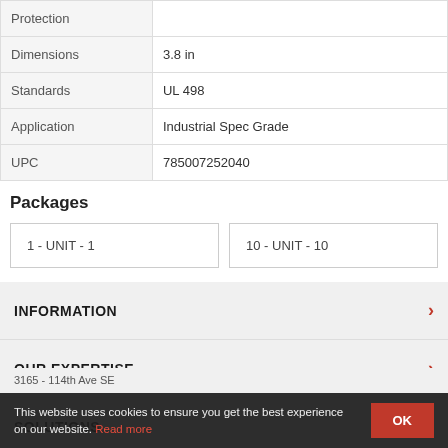|  |  |
| --- | --- |
| Protection |  |
| Dimensions | 3.8 in |
| Standards | UL 498 |
| Application | Industrial Spec Grade |
| UPC | 785007252040 |
Packages
1 - UNIT - 1
10 - UNIT - 10
INFORMATION
OUR EXPERTISE
SOLUTIONS
This website uses cookies to ensure you get the best experience on our website. Read more
3165 - 114th Ave SE